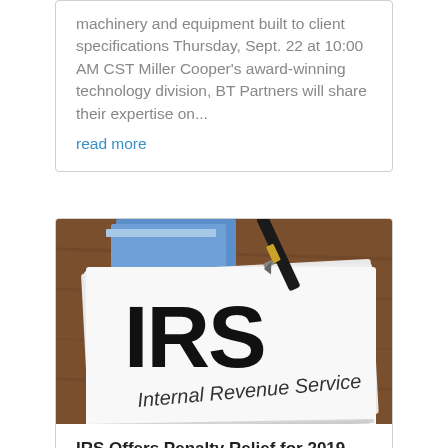machinery and equipment built to client specifications Thursday, Sept. 22 at 10:00 AM CST Miller Cooper's award-winning technology division, BT Partners will share their expertise on...
read more
[Figure (photo): Photo of IRS (Internal Revenue Service) documents stacked on a wooden desk with a pen, showing large bold 'IRS' text and 'Internal Revenue Service' label on white paper forms]
IRS Offers Penalty Relief for 2019, 2020 Tax Years